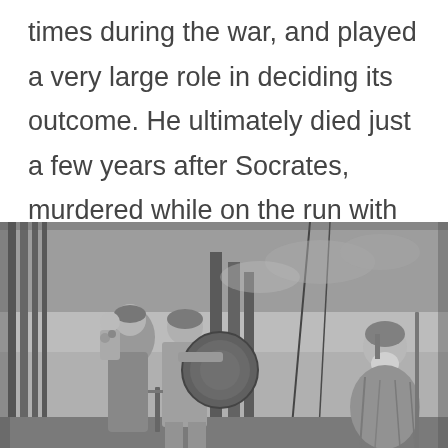times during the war, and played a very large role in deciding its outcome. He ultimately died just a few years after Socrates, murdered while on the run with one of his many mistresses.
[Figure (illustration): A black and white engraving depicting an ancient Greek or classical scene. On the left, a woman with a child clings to a man dressed in Greek warrior attire holding a large round shield and sword. On the right, a seated robed elder figure holding a staff watches the scene. Columns and a dramatic sky are visible in the background.]